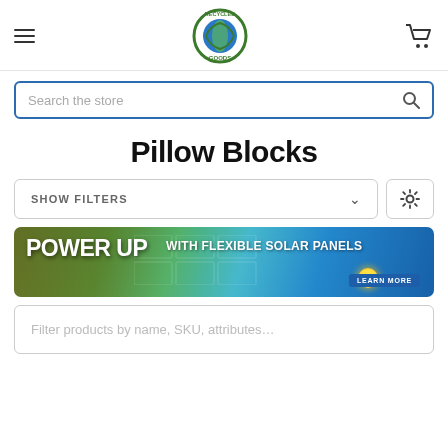Recycled Goods store header with hamburger menu, logo, and cart icon
Search the store
Pillow Blocks
SHOW FILTERS
[Figure (photo): Banner ad: POWER UP WITH FLEXIBLE SOLAR PANELS — LEARN MORE, with background image of solar panels on a building roof under a blue sky]
Filter products by name, SKU, attributes…